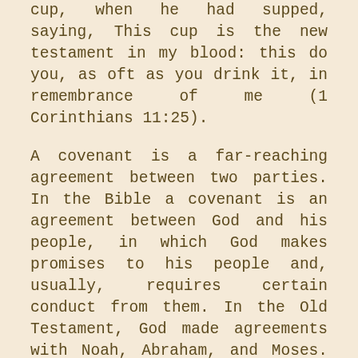cup, when he had supped, saying, This cup is the new testament in my blood: this do you, as oft as you drink it, in remembrance of me (1 Corinthians 11:25).
A covenant is a far-reaching agreement between two parties. In the Bible a covenant is an agreement between God and his people, in which God makes promises to his people and, usually, requires certain conduct from them. In the Old Testament, God made agreements with Noah, Abraham, and Moses. We see in the Old Testament the record of the nation of